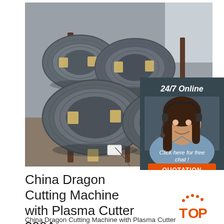[Figure (photo): Stacked coils of steel wire rod in a warehouse setting, bundled with tape, metallic gray color]
[Figure (infographic): 24/7 Online chat widget with female customer service agent wearing headset, dark slate background, 'Click here for free chat!' text and orange QUOTATION button]
China Dragon Cutting Machine with Plasma Cutter 300A ...
[Figure (logo): TOP logo with orange dots forming arc above letters T-O-P in orange]
China Dragon Cutting Machine with Plasma Cutter